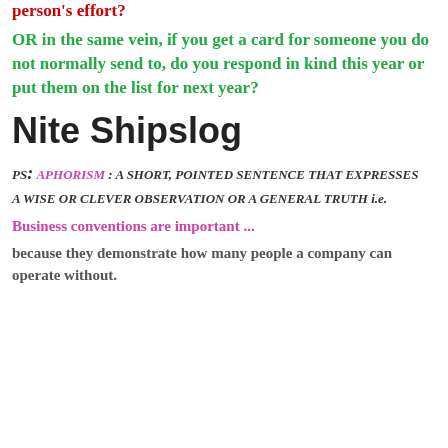person's effort?
OR in the same vein, if you get a card for someone you do not normally send to, do you respond in kind this year or put them on the list for next year?
Nite Shipslog
PS: APHORISM : A SHORT, POINTED SENTENCE THAT EXPRESSES
A WISE OR CLEVER OBSERVATION OR A GENERAL TRUTH i.e.
Business conventions are important ...
because they demonstrate how many people a company can operate without.